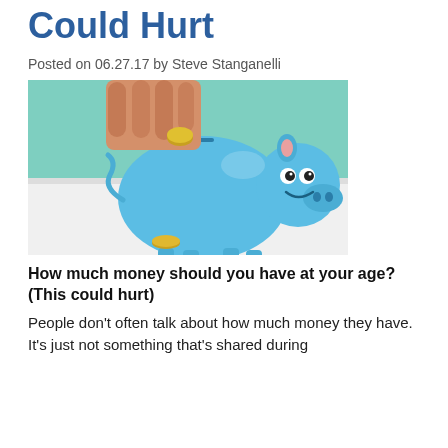Could Hurt
Posted on 06.27.17 by Steve Stanganelli
[Figure (photo): A hand inserting a coin into a smiling blue piggy bank on a white surface, with a coin lying in front of it.]
How much money should you have at your age? (This could hurt)
People don't often talk about how much money they have. It's just not something that's shared during